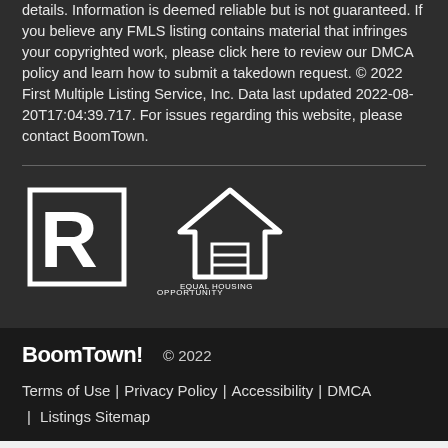details. Information is deemed reliable but is not guaranteed. If you believe any FMLS listing contains material that infringes your copyrighted work, please click here to review our DMCA policy and learn how to submit a takedown request. © 2022 First Multiple Listing Service, Inc. Data last updated 2022-08-20T17:04:39.717. For issues regarding this website, please contact BoomTown.
[Figure (logo): REALTOR logo and Equal Housing Opportunity logo side by side, white on dark background]
BoomTown!  © 2022
Terms of Use | Privacy Policy | Accessibility | DMCA | Listings Sitemap
Take a Tour
Ask A Question